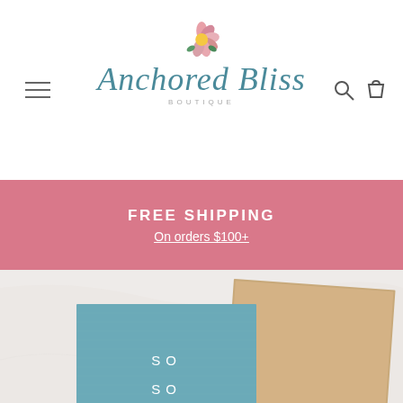[Figure (logo): Anchored Bliss Boutique logo with floral decoration and script text]
FREE SHIPPING
On orders $100+
[Figure (photo): Product photo showing two cards/notebooks on a marble surface: a kraft brown card and a blue textured card with white text reading SO SO STINKIN...]